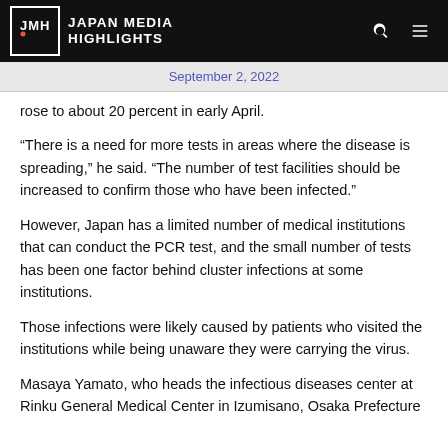JAPAN MEDIA HIGHLIGHTS
September 2, 2022
rose to about 20 percent in early April.
“There is a need for more tests in areas where the disease is spreading,” he said. “The number of test facilities should be increased to confirm those who have been infected.”
However, Japan has a limited number of medical institutions that can conduct the PCR test, and the small number of tests has been one factor behind cluster infections at some institutions.
Those infections were likely caused by patients who visited the institutions while being unaware they were carrying the virus.
Masaya Yamato, who heads the infectious diseases center at Rinku General Medical Center in Izumisano, Osaka Prefecture